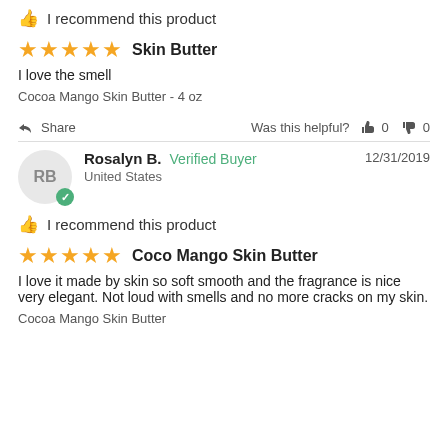I recommend this product
Skin Butter
I love the smell
Cocoa Mango Skin Butter - 4 oz
Share   Was this helpful?  0  0
Rosalyn B.  Verified Buyer  12/31/2019  United States
I recommend this product
Coco Mango Skin Butter
I love it made by skin so soft smooth and the fragrance is nice very elegant. Not loud with smells and no more cracks on my skin.
Cocoa Mango Skin Butter